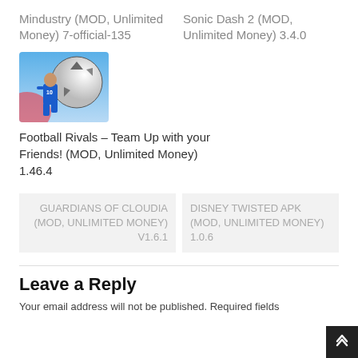Mindustry (MOD, Unlimited Money) 7-official-135
Sonic Dash 2 (MOD, Unlimited Money) 3.4.0
[Figure (photo): Screenshot of Football Rivals game showing a soccer player in blue jersey number 10 with a large football in the background]
Football Rivals – Team Up with your Friends! (MOD, Unlimited Money) 1.46.4
GUARDIANS OF CLOUDIA (MOD, UNLIMITED MONEY) V1.6.1
DISNEY TWISTED APK (MOD, UNLIMITED MONEY) 1.0.6
Leave a Reply
Your email address will not be published. Required fields